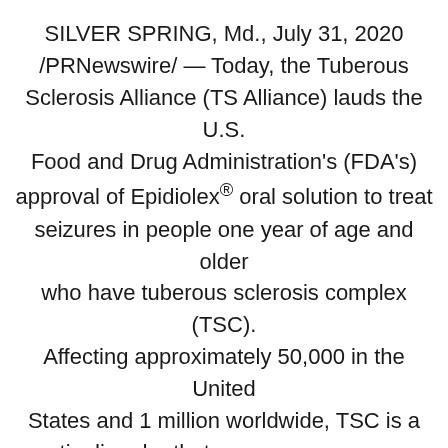SILVER SPRING, Md., July 31, 2020 /PRNewswire/ — Today, the Tuberous Sclerosis Alliance (TS Alliance) lauds the U.S. Food and Drug Administration's (FDA's) approval of Epidiolex® oral solution to treat seizures in people one year of age and older who have tuberous sclerosis complex (TSC). Affecting approximately 50,000 in the United States and 1 million worldwide, TSC is a genetic disorder that causes non-cancerous tumors to form in vital organs; it's also the leading genetic cause of both epilepsy and autism.